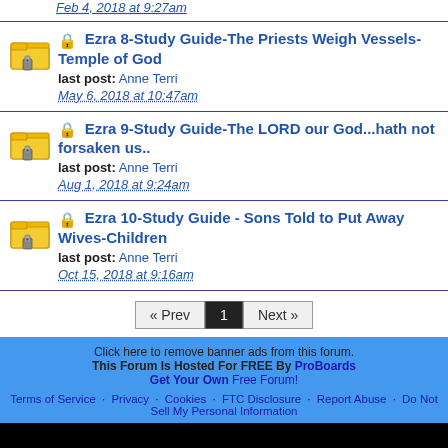Feb 4, 2018 at 9:27am
Ezra 8-Study Guide-The Priests Weigh Vessels-Temple of God | last post: Anne Terri | May 6, 2018 at 10:47am
Ezra 9-Study Guide-The LORD our God...hath not forsaken us.. | last post: Anne Terri | Aug 1, 2018 at 9:24am
Ezra 10-Study Guide - Sons Told to Put Away Wives-Children | last post: Anne Terri | Oct 15, 2018 at 9:16am
« Prev | 1 | Next »
Click here to remove banner ads from this forum. This Forum Is Hosted For FREE By ProBoards Get Your Own Free Forum! Terms of Service · Privacy · Cookies · FTC Disclosure · Report Abuse · Do Not Sell My Personal Information